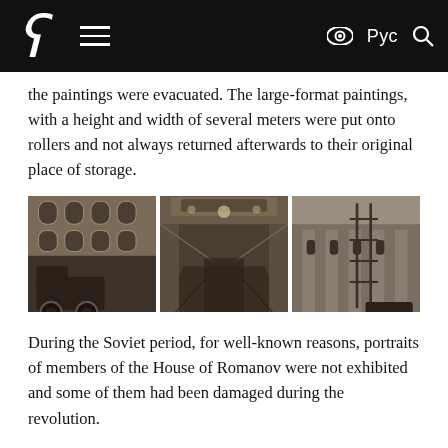Hermitage Museum website header with logo, hamburger menu, eye icon, Рус, and search icon
the paintings were evacuated. The large-format paintings, with a height and width of several meters were put onto rollers and not always returned afterwards to their original place of storage.
[Figure (photo): Three sepia-toned historical photographs side by side: left shows a military truck in front of a grand building; center shows an empty ornate museum gallery hall with bare walls; right shows scaffolding on the exterior of a classical building.]
During the Soviet period, for well-known reasons, portraits of members of the House of Romanov were not exhibited and some of them had been damaged during the revolution.
The storage of canvases on rollers was for the most part a forced, temporary measure due to the needs of transportation and lack of